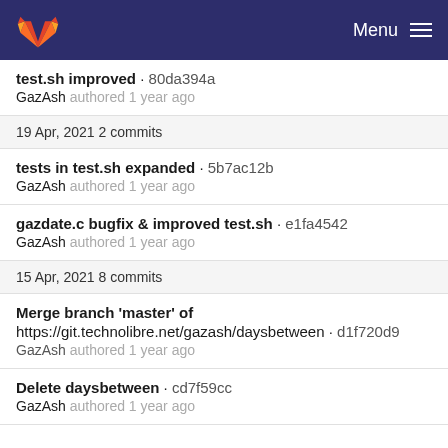GitLab — Menu
test.sh improved · 80da394a
GazAsh authored 1 year ago
19 Apr, 2021 2 commits
tests in test.sh expanded · 5b7ac12b
GazAsh authored 1 year ago
gazdate.c bugfix & improved test.sh · e1fa4542
GazAsh authored 1 year ago
15 Apr, 2021 8 commits
Merge branch 'master' of
https://git.technolibre.net/gazash/daysbetween · d1f720d9
GazAsh authored 1 year ago
Delete daysbetween · cd7f59cc
GazAsh authored 1 year ago